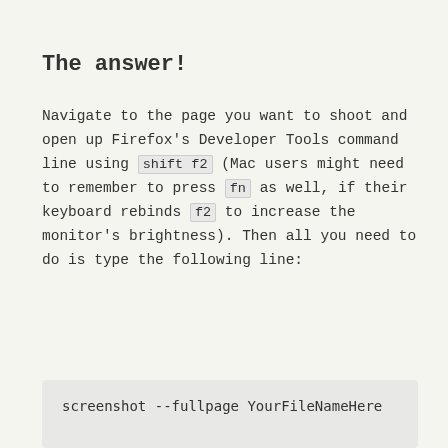The answer!
Navigate to the page you want to shoot and open up Firefox's Developer Tools command line using shift f2 (Mac users might need to remember to press fn as well, if their keyboard rebinds f2 to increase the monitor's brightness). Then all you need to do is type the following line:
screenshot --fullpage YourFileNameHere